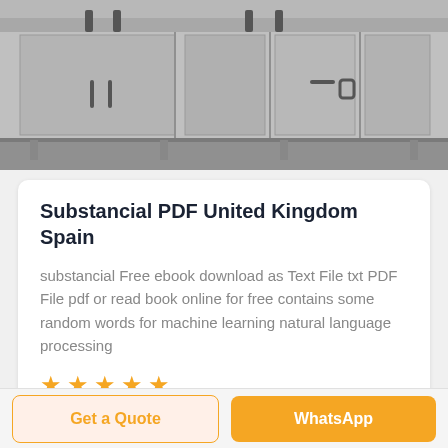[Figure (photo): Black and white photo of stainless steel commercial kitchen counter/cabinet with handles]
Substancial PDF United Kingdom Spain
substancial Free ebook download as Text File txt PDF File pdf or read book online for free contains some random words for machine learning natural language processing
[Figure (other): Five orange star rating icons]
Get a Quote
WhatsApp